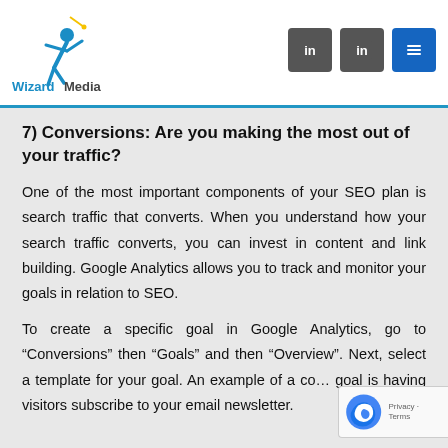[Figure (logo): WizardMedia logo with figure graphic and tagline 'We Bring Your Target Market to You...']
7) Conversions: Are you making the most out of your traffic?
One of the most important components of your SEO plan is search traffic that converts. When you understand how your search traffic converts, you can invest in content and link building. Google Analytics allows you to track and monitor your goals in relation to SEO.
To create a specific goal in Google Analytics, go to “Conversions” then “Goals” and then “Overview”. Next, select a template for your goal. An example of a common goal is having visitors subscribe to your email newsletter.